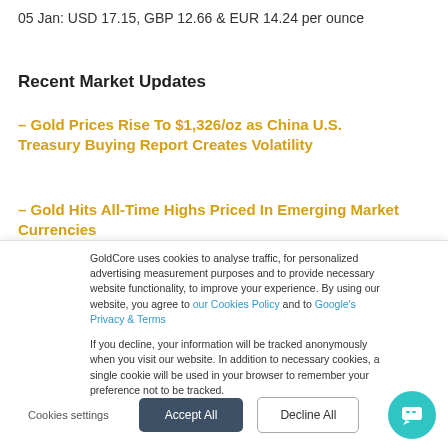05 Jan: USD 17.15, GBP 12.66 & EUR 14.24 per ounce
Recent Market Updates
– Gold Prices Rise To $1,326/oz as China U.S. Treasury Buying Report Creates Volatility
– Gold Hits All-Time Highs Priced In Emerging Market Currencies
GoldCore uses cookies to analyse traffic, for personalized advertising measurement purposes and to provide necessary website functionality, to improve your experience. By using our website, you agree to our Cookies Policy and to Google's Privacy & Terms

If you decline, your information will be tracked anonymously when you visit our website. In addition to necessary cookies, a single cookie will be used in your browser to remember your preference not to be tracked.
Cookies settings | Accept All | Decline All